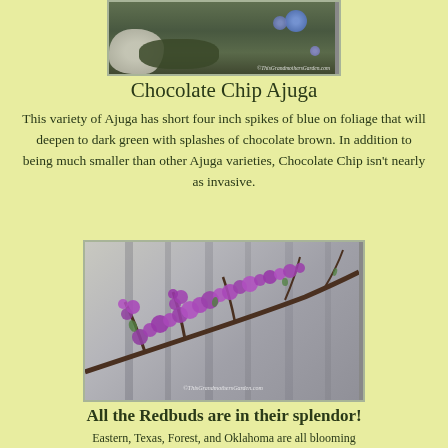[Figure (photo): Close-up photo of Chocolate Chip Ajuga plant with small blue flowers on dark green foliage near a rock, with watermark 'ThisGrandmothersGarden.com']
Chocolate Chip Ajuga
This variety of Ajuga has short four inch spikes of blue on foliage that will deepen to dark green with splashes of chocolate brown. In addition to being much smaller than other Ajuga varieties, Chocolate Chip isn't nearly as invasive.
[Figure (photo): Close-up photo of Eastern Redbud tree branch covered in vibrant purple-pink blossoms with blurred background, watermark 'ThisGrandmothersGarden.com']
All the Redbuds are in their splendor!
Eastern, Texas, Forest, and Oklahoma are all blooming